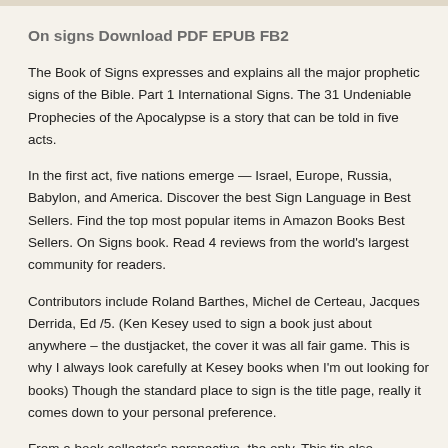On signs Download PDF EPUB FB2
The Book of Signs expresses and explains all the major prophetic signs of the Bible. Part 1 International Signs. The 31 Undeniable Prophecies of the Apocalypse is a story that can be told in five acts.
In the first act, five nations emerge — Israel, Europe, Russia, Babylon, and America. Discover the best Sign Language in Best Sellers. Find the top most popular items in Amazon Books Best Sellers. On Signs book. Read 4 reviews from the world's largest community for readers.
Contributors include Roland Barthes, Michel de Certeau, Jacques Derrida, Ed /5. (Ken Kesey used to sign a book just about anywhere – the dustjacket, the cover it was all fair game. This is why I always look carefully at Kesey books when I'm out looking for books) Though the standard place to sign is the title page, really it comes down to your personal preference.
From a book collector's perspective, the only. This tip also suggests